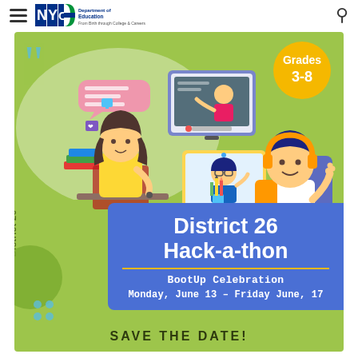NYC Department of Education
[Figure (infographic): District 26 Hack-a-thon BootUp Celebration event flyer with illustrated students doing online learning on a green background. Features a gold badge for Grades 3-8, blue banner with event title, date Monday June 13 – Friday June 17, and Save the Date text.]